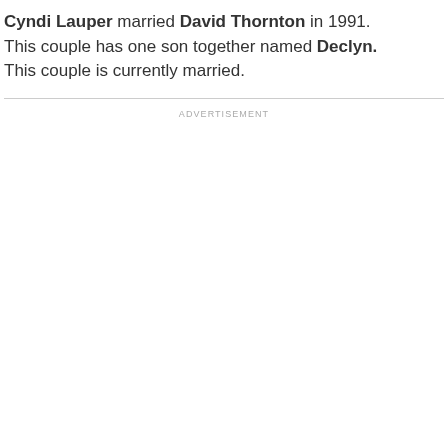Cyndi Lauper married David Thornton in 1991. This couple has one son together named Declyn. This couple is currently married.
ADVERTISEMENT